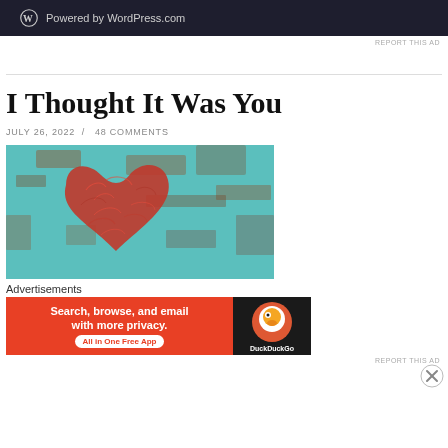[Figure (screenshot): WordPress.com dark banner ad with WordPress logo and 'Powered by WordPress.com' text]
REPORT THIS AD
I Thought It Was You
JULY 26, 2022  /  48 COMMENTS
[Figure (photo): Red yarn heart shape on a turquoise distressed wooden background]
Advertisements
[Figure (screenshot): DuckDuckGo advertisement: Search, browse, and email with more privacy. All in One Free App]
REPORT THIS AD